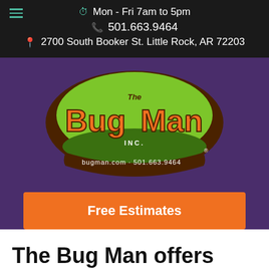Mon - Fri 7am to 5pm
501.663.9464
2700 South Booker St. Little Rock, AR 72203
[Figure (logo): The Bug Man Inc. logo — orange cartoon lettering on a green oval with brown border, tagline: bugman.com · 501.663.9464]
Free Estimates
The Bug Man offers